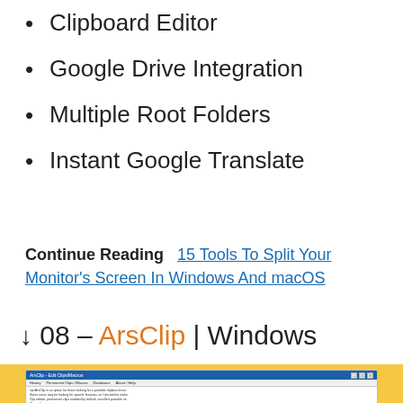Clipboard Editor
Google Drive Integration
Multiple Root Folders
Instant Google Translate
Continue Reading   15 Tools To Split Your Monitor's Screen In Windows And macOS
↓ 08 – ArsClip | Windows
[Figure (screenshot): Screenshot of ArsClip - Edit Clips/Macros application window showing the History, Permanent Clips/Macros, Databases, and About/Help menu tabs, with a Popup dropdown and a list of clipboard entries including highlighted item 'Picture (101 17x22)'.]